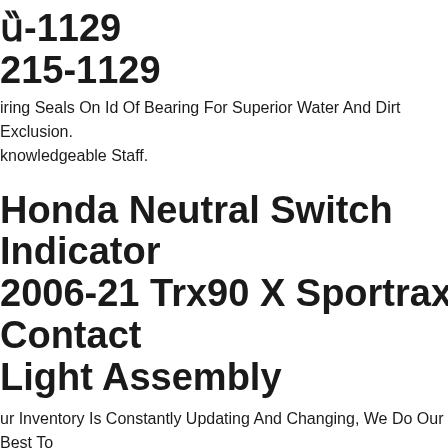0215-1129
iring Seals On Id Of Bearing For Superior Water And Dirt Exclusion. knowledgeable Staff.
Honda Neutral Switch Indicator 2006-21 Trx90 X Sportrax Contact Light Assembly
Our Inventory Is Constantly Updating And Changing, We Do Our Best To Keep It As Accurate As Possible. We Will Do Our Best To Work With You To Get You Your Item As Fast As Possible.
oose Racing Tapered Double Angular Contact Wheel Bearing 0215-1134 iring Seals On Id Of Bearing For Superior Water And Dirt Exclusion. knowledgeable Staff.
Pivot Works Swing Arm Kit For Gas-gas Contact 250 Es 2017